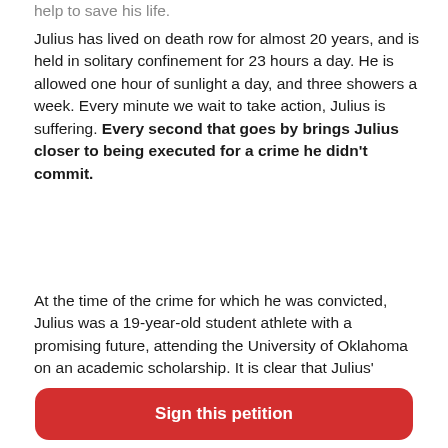help to save his life.
Julius has lived on death row for almost 20 years, and is held in solitary confinement for 23 hours a day. He is allowed one hour of sunlight a day, and three showers a week. Every minute we wait to take action, Julius is suffering. Every second that goes by brings Julius closer to being executed for a crime he didn't commit.
At the time of the crime for which he was convicted, Julius was a 19-year-old student athlete with a promising future, attending the University of Oklahoma on an academic scholarship. It is clear that Julius' lawyer did not adequately defend him, and that explicit racial bias played a significant role in the process.. For example:
Sign this petition